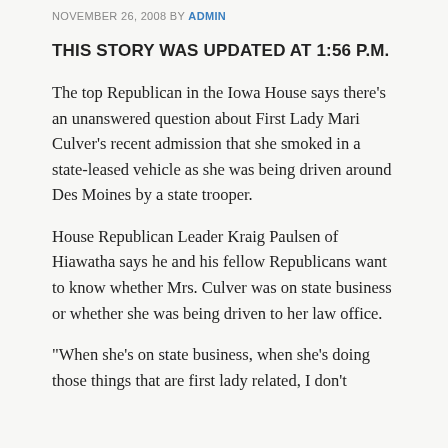NOVEMBER 26, 2008 BY ADMIN
THIS STORY WAS UPDATED AT 1:56 P.M.
The top Republican in the Iowa House says there's an unanswered question about First Lady Mari Culver's recent admission that she smoked in a state-leased vehicle as she was being driven around Des Moines by a state trooper.
House Republican Leader Kraig Paulsen of Hiawatha says he and his fellow Republicans want to know whether Mrs. Culver was on state business or whether she was being driven to her law office.
'When she's on state business, when she's doing those things that are first lady related, I don't